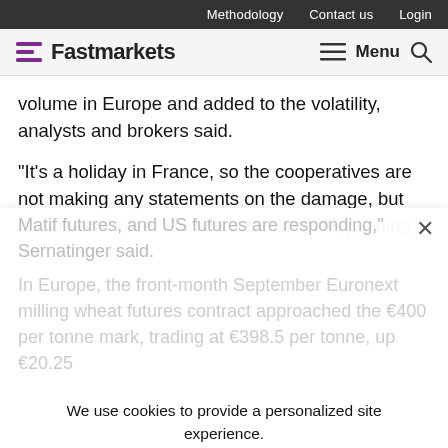Methodology   Contact us   Login
[Figure (logo): Fastmarkets logo with purple horizontal bars icon and wordmark, with hamburger Menu and search icon on the right]
volume in Europe and added to the volatility, analysts and brokers said.
“It’s a holiday in France, so the cooperatives are not making any statements on the damage, but commercials feel like it was substantial, pushing up
Matif futures, and US futures are responding,” Sernatinger said.
In Europe, the front-month September Euronext milling wheat futures contract approached the €400 per tonne mark, trading at €398.5 per tonne, up €20.25
We use cookies to provide a personalized site experience.
By continuing to use & browse the site you agree to our Privacy Policy.
Proceed